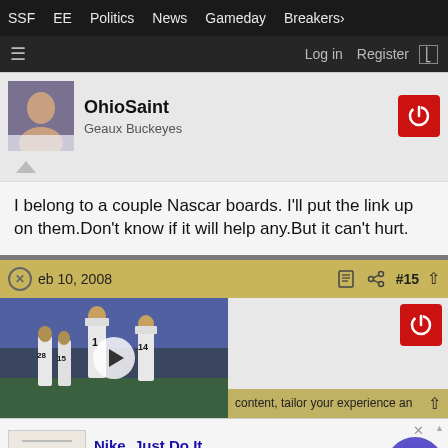SSF  EE  Politics  News  Gameday  Breakers
Log in  Register
OhioSaint
Geaux Buckeyes
I belong to a couple Nascar boards. I'll put the link up on them.Don't know if it will help any.But it can't hurt.
Feb 10, 2008  #15
[Figure (photo): Football players in white uniforms on field, with video play button overlay]
content, tailor your experience an
Nike. Just Do It
Inspiring the world's athletes, Nike delivers the deals
www.nike.com